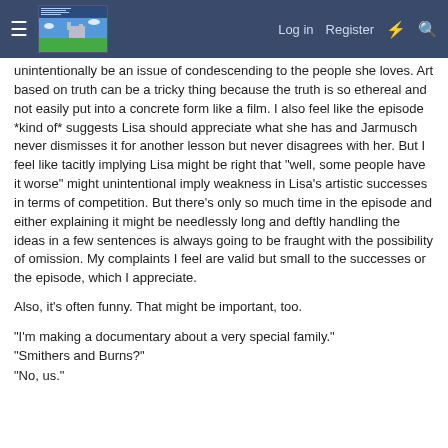Log in  Register
unintentionally be an issue of condescending to the people she loves. Art based on truth can be a tricky thing because the truth is so ethereal and not easily put into a concrete form like a film. I also feel like the episode *kind of* suggests Lisa should appreciate what she has and Jarmusch never dismisses it for another lesson but never disagrees with her. But I feel like tacitly implying Lisa might be right that "well, some people have it worse" might unintentional imply weakness in Lisa's artistic successes in terms of competition. But there's only so much time in the episode and either explaining it might be needlessly long and deftly handling the ideas in a few sentences is always going to be fraught with the possibility of omission. My complaints I feel are valid but small to the successes or the episode, which I appreciate.
Also, it's often funny. That might be important, too.
"I'm making a documentary about a very special family."
"Smithers and Burns?"
"No, us."